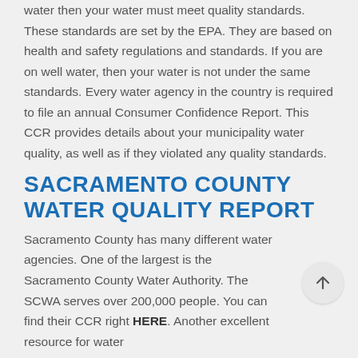water then your water must meet quality standards. These standards are set by the EPA. They are based on health and safety regulations and standards. If you are on well water, then your water is not under the same standards. Every water agency in the country is required to file an annual Consumer Confidence Report. This CCR provides details about your municipality water quality, as well as if they violated any quality standards.
SACRAMENTO COUNTY WATER QUALITY REPORT
Sacramento County has many different water agencies. One of the largest is the Sacramento County Water Authority. The SCWA serves over 200,000 people. You can find their CCR right HERE. Another excellent resource for water